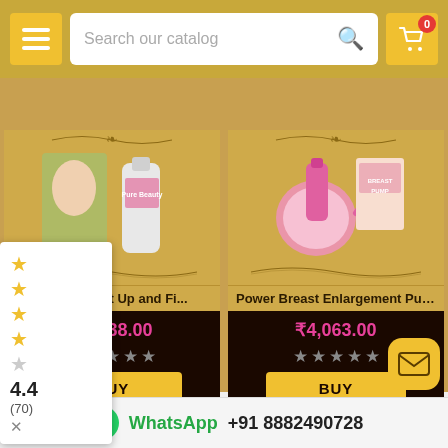Search our catalog
[Figure (screenshot): Product image: Beauty Breast Lift Up and Fix cream/lotion bottles with model]
Beauty Breast Lift Up and Fi...
₹1,438.00
[Figure (screenshot): Product image: Power Breast Enlargement Pump device with box]
Power Breast Enlargement Pump...
₹4,063.00
WhatsApp +91 8882490728